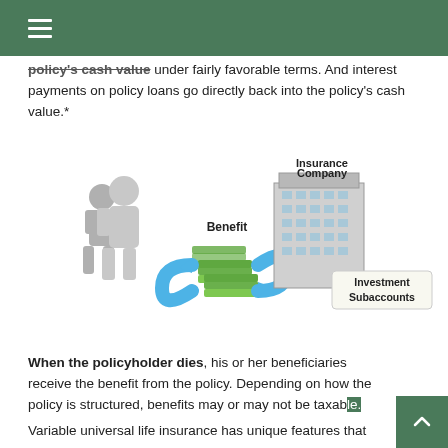policy's cash value under fairly favorable terms. And interest payments on policy loans go directly back into the policy's cash value.*
[Figure (infographic): Diagram showing the flow between a policyholder (illustrated figures), money stacks, an Insurance Company building, and Investment Subaccounts, with blue circular arrows indicating the flow of Benefit between them.]
When the policyholder dies, his or her beneficiaries receive the benefit from the policy. Depending on how the policy is structured, benefits may or may not be taxable.
Variable universal life insurance has unique features that